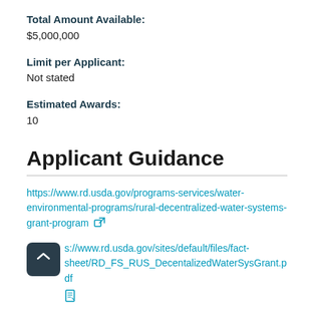Total Amount Available:
$5,000,000
Limit per Applicant:
Not stated
Estimated Awards:
10
Applicant Guidance
https://www.rd.usda.gov/programs-services/water-environmental-programs/rural-decentralized-water-systems-grant-program
https://www.rd.usda.gov/sites/default/files/fact-sheet/RD_FS_RUS_DecentalizedWaterSysGrant.pdf